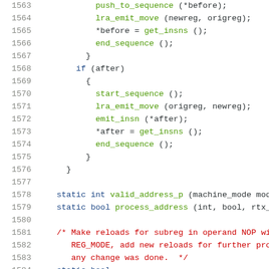Source code listing, lines 1563-1584, showing C code with syntax highlighting including function calls (push_to_sequence, lra_emit_move, get_insns, end_sequence, start_sequence, emit_insn), control flow (if), static declarations, and a comment block about reloads for subreg.